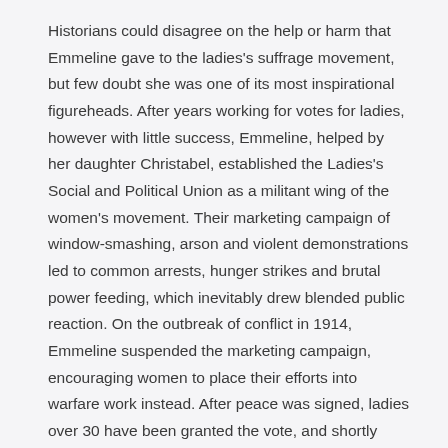Historians could disagree on the help or harm that Emmeline gave to the ladies's suffrage movement, but few doubt she was one of its most inspirational figureheads. After years working for votes for ladies, however with little success, Emmeline, helped by her daughter Christabel, established the Ladies's Social and Political Union as a militant wing of the women's movement. Their marketing campaign of window-smashing, arson and violent demonstrations led to common arrests, hunger strikes and brutal power feeding, which inevitably drew blended public reaction. On the outbreak of conflict in 1914, Emmeline suspended the marketing campaign, encouraging women to place their efforts into warfare work instead. After peace was signed, ladies over 30 have been granted the vote, and shortly before Emmeline's loss of life the age was lowered to 21, to match males's votes.